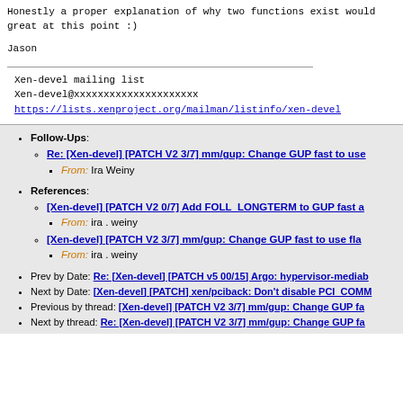Honestly a proper explanation of why two functions exist would be great at this point :)
Jason
Xen-devel mailing list
Xen-devel@xxxxxxxxxxxxxxxxxxxxx
https://lists.xenproject.org/mailman/listinfo/xen-devel
Follow-Ups: Re: [Xen-devel] [PATCH V2 3/7] mm/gup: Change GUP fast to use... From: Ira Weiny
References: [Xen-devel] [PATCH V2 0/7] Add FOLL_LONGTERM to GUP fast a... From: ira . weiny | [Xen-devel] [PATCH V2 3/7] mm/gup: Change GUP fast to use fla... From: ira . weiny
Prev by Date: Re: [Xen-devel] [PATCH v5 00/15] Argo: hypervisor-mediab...
Next by Date: [Xen-devel] [PATCH] xen/pciback: Don't disable PCI_COMM...
Previous by thread: [Xen-devel] [PATCH V2 3/7] mm/gup: Change GUP fa...
Next by thread: Re: [Xen-devel] [PATCH V2 3/7] mm/gup: Change GUP fa...